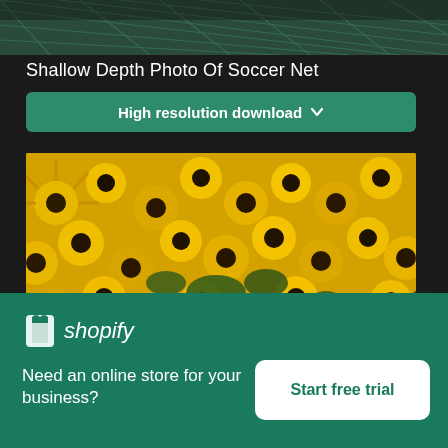[Figure (photo): Top portion of a soccer net photo, shallow depth, dark background]
Shallow Depth Photo Of Soccer Net
High resolution download ↓
[Figure (photo): Dense field of yellow black-eyed Susan / rudbeckia daisy flowers with dark centers]
[Figure (logo): Shopify logo with bag icon and wordmark]
Need an online store for your business?
Start free trial